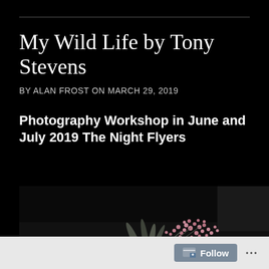My Wild Life by Tony Stevens
BY ALAN FROST ON MARCH 29, 2019
Photography Workshop in June and July 2019 The Night Flyers
[Figure (photo): Dark background photo of pink flowers and grey-green leaves arranged in a still-life style]
Follow ...